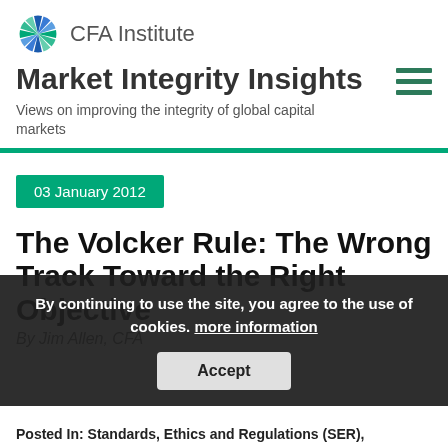CFA Institute
Market Integrity Insights
Views on improving the integrity of global capital markets
03 January 2012
The Volcker Rule: The Wrong Track Toward the Right Objective
By Jim Allen, CFA
By continuing to use the site, you agree to the use of cookies. more information
Posted In: Standards, Ethics and Regulations (SER),